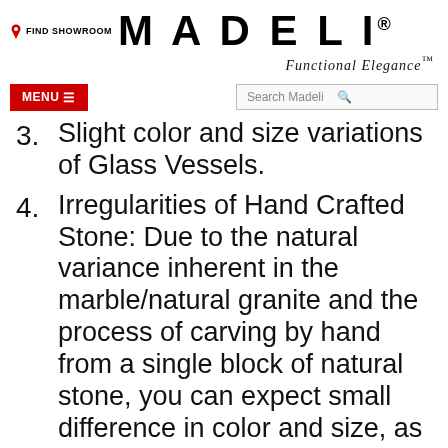FIND SHOWROOM  MADELI®  Functional Elegance™  MENU ≡  Search Madeli
3. Slight color and size variations of Glass Vessels.
4. Irregularities of Hand Crafted Stone: Due to the natural variance inherent in the marble/natural granite and the process of carving by hand from a single block of natural stone, you can expect small difference in color and size, as well as